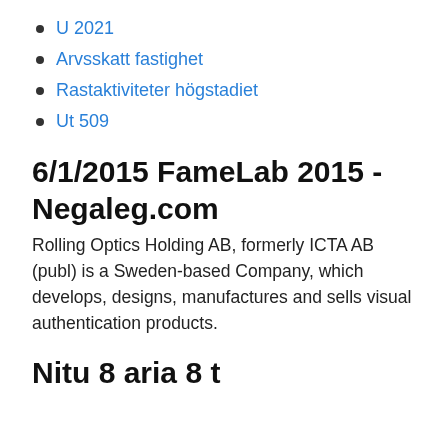U 2021
Arvsskatt fastighet
Rastaktiviteter högstadiet
Ut 509
6/1/2015 FameLab 2015 - Negaleg.com
Rolling Optics Holding AB, formerly ICTA AB (publ) is a Sweden-based Company, which develops, designs, manufactures and sells visual authentication products.